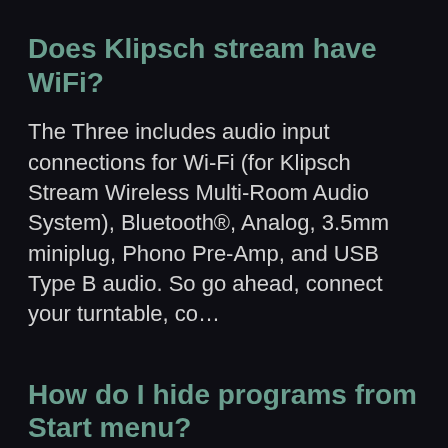Does Klipsch stream have WiFi?
The Three includes audio input connections for Wi-Fi (for Klipsch Stream Wireless Multi-Room Audio System), Bluetooth®, Analog, 3.5mm miniplug, Phono Pre-Amp, and USB Type B audio. So go ahead, connect your turntable, co&hellip;
How do I hide programs from Start menu?
If you're looking for a way to hide or remove apps from the Windows Start Menu that